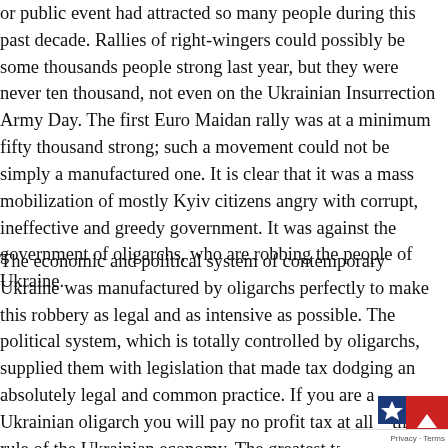or public event had attracted so many people during this past decade. Rallies of right-wingers could possibly be some thousands people strong last year, but they were never ten thousand, not even on the Ukrainian Insurrection Army Day. The first Euro Maidan rally was at a minimum fifty thousand strong; such a movement could not be simply a manufactured one. It is clear that it was a mass mobilization of mostly Kyiv citizens angry with corrupt, ineffective and greedy government. It was against the government of oligarchs, who are robbing the people of Ukraine.
The economic and political system of contemporary Ukraine was manufactured by oligarchs perfectly to make this robbery as legal and as intensive as possible. The political system, which is totally controlled by oligarchs, supplied them with legislation that made tax dodging an absolutely legal and common practice. If you are a Ukrainian oligarch you will pay no profit tax at all – this is rule of the Ukrainian economy. The greatest taxation pressure on the workers and small business owners. Even if we are talking